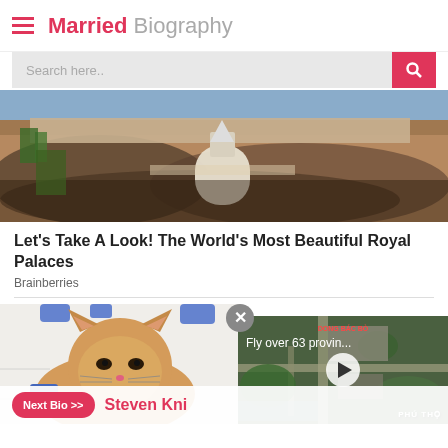Married Biography
[Figure (photo): Aerial view of a massive crowd at Buckingham Palace with a large monument in the center, royal palace event]
Let's Take A Look! The World's Most Beautiful Royal Palaces
Brainberries
[Figure (photo): Orange tabby cat looking at camera on a white desk with blue objects]
[Figure (screenshot): Video player overlay showing aerial map view labeled DONG BAC BO with text 'Fly over 63 provin...' and play button, location PHU THO]
Next Bio >> Steven Kni